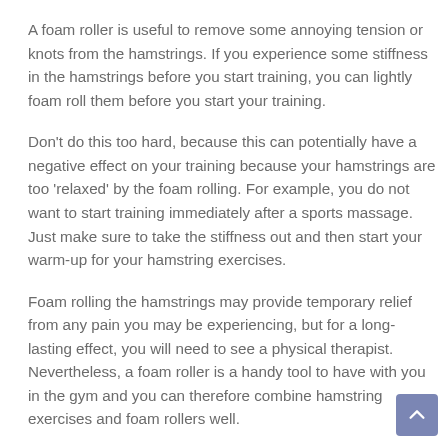A foam roller is useful to remove some annoying tension or knots from the hamstrings. If you experience some stiffness in the hamstrings before you start training, you can lightly foam roll them before you start your training.
Don't do this too hard, because this can potentially have a negative effect on your training because your hamstrings are too 'relaxed' by the foam rolling. For example, you do not want to start training immediately after a sports massage. Just make sure to take the stiffness out and then start your warm-up for your hamstring exercises.
Foam rolling the hamstrings may provide temporary relief from any pain you may be experiencing, but for a long-lasting effect, you will need to see a physical therapist. Nevertheless, a foam roller is a handy tool to have with you in the gym and you can therefore combine hamstring exercises and foam rollers well.